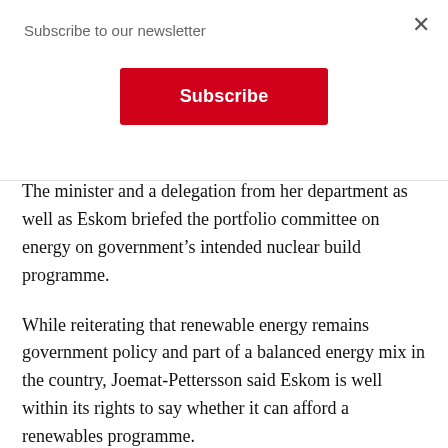Subscribe to our newsletter
Subscribe
The minister and a delegation from her department as well as Eskom briefed the portfolio committee on energy on government’s intended nuclear build programme.
While reiterating that renewable energy remains government policy and part of a balanced energy mix in the country, Joemat-Pettersson said Eskom is well within its rights to say whether it can afford a renewables programme.
“If Eskom says it can’t find further funding for renewables, we have to listen. That doesn’t mean the CEO of Eskom (Brian Molefe) is making any policy